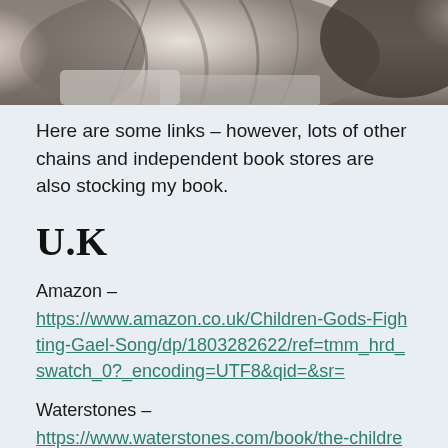[Figure (photo): Black and white photo of a person with long hair, cropped at the top, showing shoulders and head partially visible]
Here are some links – however, lots of other chains and independent book stores are also stocking my book.
U.K
Amazon – https://www.amazon.co.uk/Children-Gods-Fighting-Gael-Song/dp/1803282622/ref=tmm_hrd_swatch_0?_encoding=UTF8&qid=&sr=
Waterstones – https://www.waterstones.com/book/the-children-of-gods-and-fighting-men/shauna-